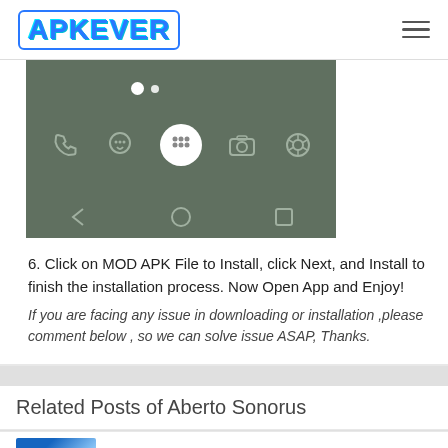APKEVER
[Figure (screenshot): Android phone screenshot showing home screen with app icons (phone, hangouts, apps grid, camera, gallery) and navigation bar (back, home, recents) on a dark teal background with two white dots at top]
6. Click on MOD APK File to Install, click Next, and Install to finish the installation process. Now Open App and Enjoy!
If you are facing any issue in downloading or installation ,please comment below , so we can solve issue ASAP, Thanks.
Related Posts of Aberto Sonorus
Extreme GT Racing Turbo Sim 3D 4.7